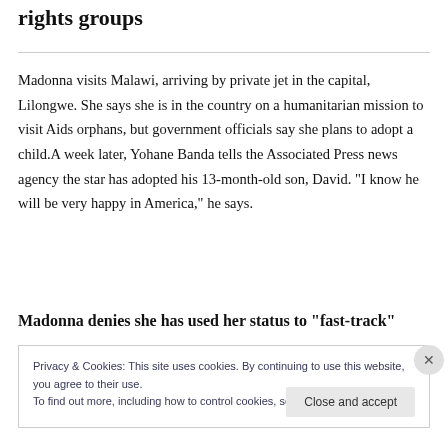rights groups
Madonna visits Malawi, arriving by private jet in the capital, Lilongwe. She says she is in the country on a humanitarian mission to visit Aids orphans, but government officials say she plans to adopt a child.A week later, Yohane Banda tells the Associated Press news agency the star has adopted his 13-month-old son, David. "I know he will be very happy in America," he says.
Madonna denies she has used her status to “fast-track”
Privacy & Cookies: This site uses cookies. By continuing to use this website, you agree to their use.
To find out more, including how to control cookies, see here: Cookie Policy